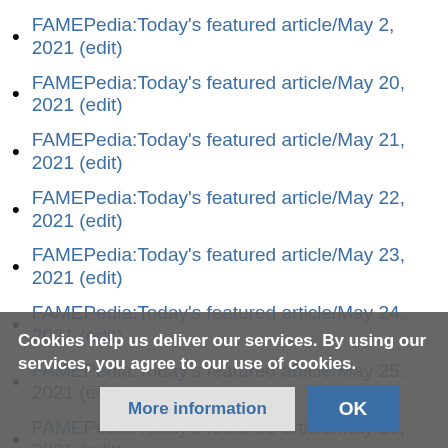FAMEPedia:Today's featured article/May 2, 2021 (edit)
FAMEPedia:Today's featured article/May 20, 2021 (edit)
FAMEPedia:Today's featured article/May 21, 2021 (edit)
FAMEPedia:Today's featured article/May 22, 2021 (edit)
FAMEPedia:Today's featured article/May 23, 2021 (edit)
FAMEPedia:Today's featured article/May 24, 2021 (edit)
FAMEPedia:Today's featured article/May 25, 2021 (edit)
FAMEPedia:Today's featured article/May 26, 2021 (edit)
FAMEPedia:Today's featured article/May 27, 2021 (edit)
FAMEPedia:Today's featured article/May 28, 2021 (edit)
FAMEPedia:Today's featured article/May 29, 2021 (edit)
FAMEPedia:Today's featured article/May 30, 2021 (edit)
Cookies help us deliver our services. By using our services, you agree to our use of cookies.